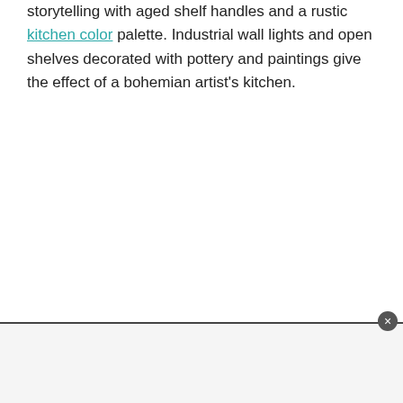storytelling with aged shelf handles and a rustic kitchen color palette. Industrial wall lights and open shelves decorated with pottery and paintings give the effect of a bohemian artist's kitchen.
[Figure (other): Advertisement banner at the bottom of the page with a close/dismiss button (circular X icon) in the top-right corner.]